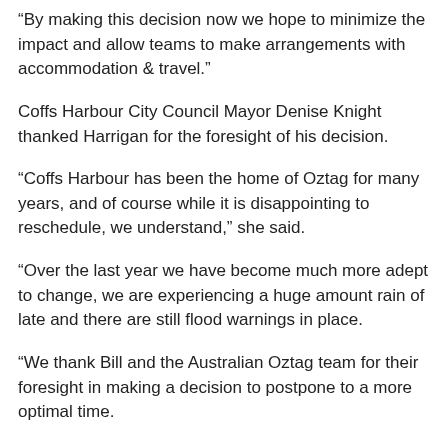“By making this decision now we hope to minimize the impact and allow teams to make arrangements with accommodation & travel.”
Coffs Harbour City Council Mayor Denise Knight thanked Harrigan for the foresight of his decision.
“Coffs Harbour has been the home of Oztag for many years, and of course while it is disappointing to reschedule, we understand,” she said.
“Over the last year we have become much more adept to change, we are experiencing a huge amount rain of late and there are still flood warnings in place.
“We thank Bill and the Australian Oztag team for their foresight in making a decision to postpone to a more optimal time.